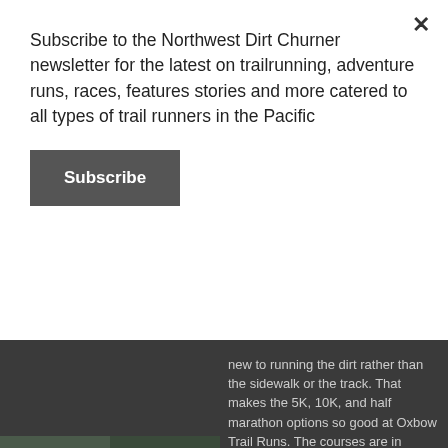Subscribe to the Northwest Dirt Churner newsletter for the latest on trailrunning, adventure runs, races, features stories and more catered to all types of trail runners in the Pacific
Subscribe
new to running the dirt rather than the sidewalk or the track. That makes the 5K, 10K, and half marathon options so good at Oxbow Trail Runs. The courses are in Oxbow Regional Park, just 30 minutes from...
6  View on Facebook
Northwest Dirt Churners